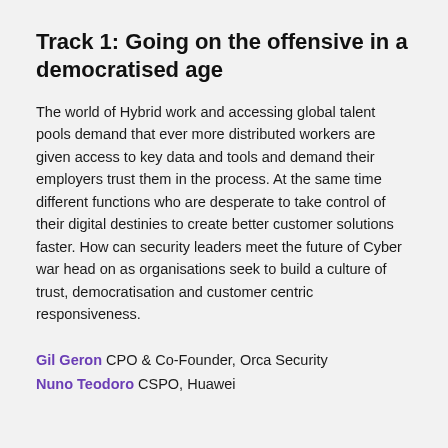Track 1: Going on the offensive in a democratised age
The world of Hybrid work and accessing global talent pools demand that ever more distributed workers are given access to key data and tools and demand their employers trust them in the process. At the same time different functions who are desperate to take control of their digital destinies to create better customer solutions faster. How can security leaders meet the future of Cyber war head on as organisations seek to build a culture of trust, democratisation and customer centric responsiveness.
Gil Geron CPO & Co-Founder, Orca Security
Nuno Teodoro CSPO, Huawei